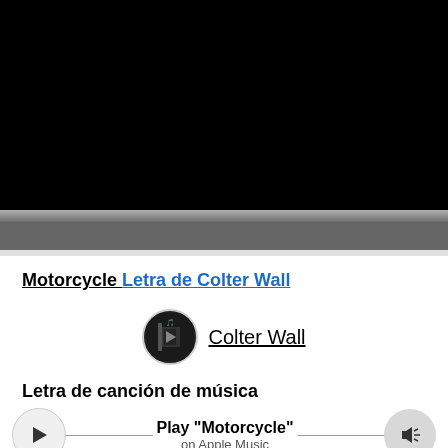[Figure (screenshot): Black video player area at the top of the page]
Motorcycle Letra de Colter Wall
[Figure (photo): Circular artist thumbnail image of Colter Wall]
Colter Wall
Letra de canción de música
[Figure (other): Music player widget with play button, Play "Motorcycle" on Apple Music text, and volume button]
Motorcycle Letra de Colter Wall lyrics
Ver videolyrics